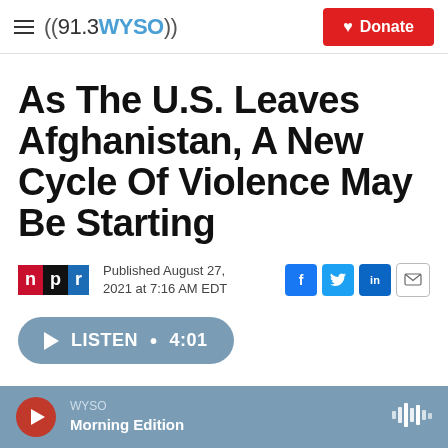((91.3 WYSO)) | Donate
As The U.S. Leaves Afghanistan, A New Cycle Of Violence May Be Starting
Published August 27, 2021 at 7:16 AM EDT
LISTEN • 4:01
WYSO Morning Edition